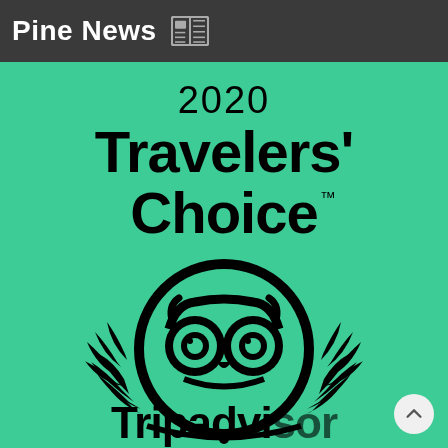Pine News
[Figure (logo): TripAdvisor 2020 Travelers' Choice award badge on green background with owl logo and laurel wreath, partially cropped. Text reads: 2020 Travelers' Choice TM, TripAdvisor logo (owl in circle with laurel leaves), and partial text 'Tripadvisor' at bottom.]